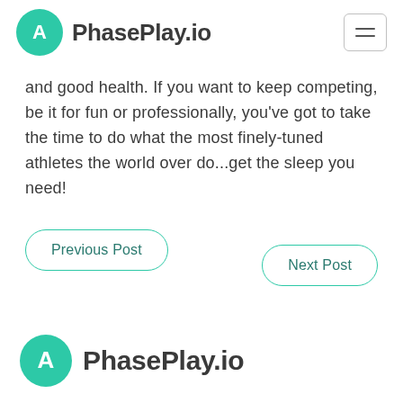PhasePlay.io
and good health. If you want to keep competing, be it for fun or professionally, you've got to take the time to do what the most finely-tuned athletes the world over do...get the sleep you need!
Previous Post
Next Post
PhasePlay.io